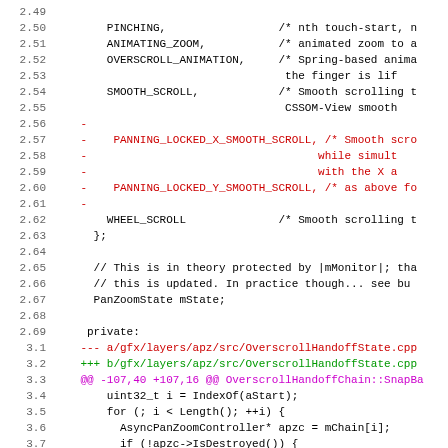Source code diff showing PanZoomState enum and OverscrollHandoffState.cpp changes
Lines 2.49-3.11 of a code review diff